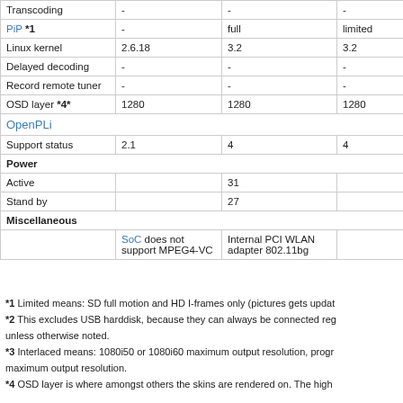|  |  |  |  |
| --- | --- | --- | --- |
| Transcoding | - | - | - |
| PiP *1 | - | full | limited |
| Linux kernel | 2.6.18 | 3.2 | 3.2 |
| Delayed decoding | - | - | - |
| Record remote tuner | - | - | - |
| OSD layer *4* | 1280 | 1280 | 1280 |
| OpenPLi (section) |  |  |  |
| Support status | 2.1 | 4 | 4 |
| Power (section) |  |  |  |
| Active |  | 31 |  |
| Stand by |  | 27 |  |
| Miscellaneous (section) |  |  |  |
|  | SoC does not support MPEG4-VC | Internal PCI WLAN adapter 802.11bg |  |
*1 Limited means: SD full motion and HD I-frames only (pictures gets updat...
*2 This excludes USB harddisk, because they can always be connected reg... unless otherwise noted.
*3 Interlaced means: 1080i50 or 1080i60 maximum output resolution, progr... maximum output resolution.
*4 OSD layer is where amongst others the skins are rendered on. The high...